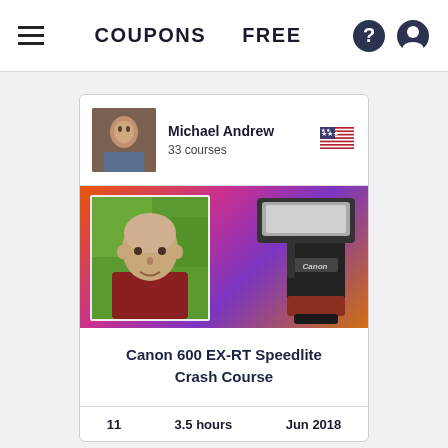COUPONS  FREE
Michael Andrew
33 courses
[Figure (photo): Course banner showing instructor portrait on left with colorful purple-orange gradient background and Canon 600 EX-RT Speedlite flash unit on the right]
Canon 600 EX-RT Speedlite Crash Course
11  3.5 hours  Jun 2018